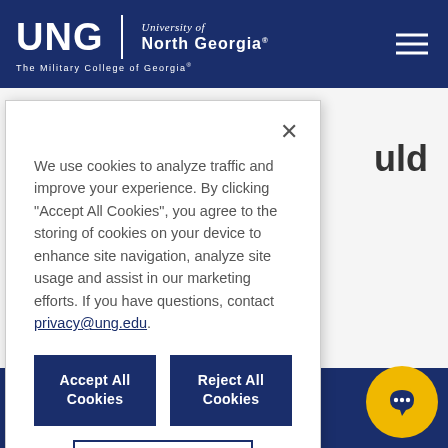UNG | University of North Georgia | The Military College of Georgia
We use cookies to analyze traffic and improve your experience. By clicking “Accept All Cookies”, you agree to the storing of cookies on your device to enhance site navigation, analyze site usage and assist in our marketing efforts. If you have questions, contact privacy@ung.edu.
Accept All Cookies
Reject All Cookies
Cookies Settings